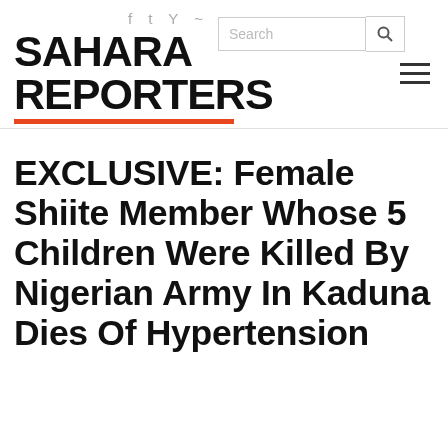SAHARA REPORTERS
EXCLUSIVE: Female Shiite Member Whose 5 Children Were Killed By Nigerian Army In Kaduna Dies Of Hypertension